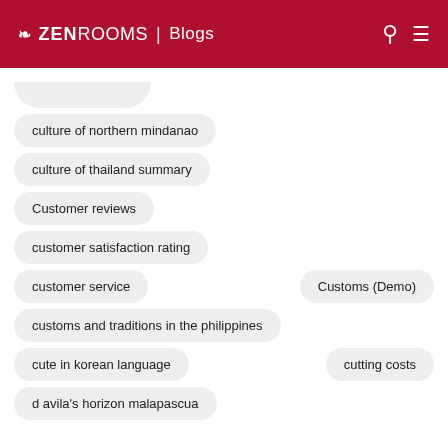ZEN ROOMS | Blogs
culture of northern mindanao
culture of thailand summary
Customer reviews
customer satisfaction rating
customer service
Customs (Demo)
customs and traditions in the philippines
cute in korean language
cutting costs
d avila's horizon malapascua